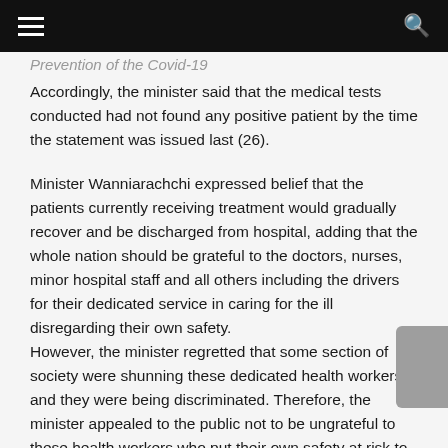Prevention of the Covid-19
Accordingly, the minister said that the medical tests conducted had not found any positive patient by the time the statement was issued last (26).
Minister Wanniarachchi expressed belief that the patients currently receiving treatment would gradually recover and be discharged from hospital, adding that the whole nation should be grateful to the doctors, nurses, minor hospital staff and all others including the drivers for their dedicated service in caring for the ill disregarding their own safety.
However, the minister regretted that some section of society were shunning these dedicated health workers and they were being discriminated. Therefore, the minister appealed to the public not to be ungrateful to these health workers who put their own safety at risk to care for their fellow countrymen at a time of need and urged the people to treat them with respect and gratitude.